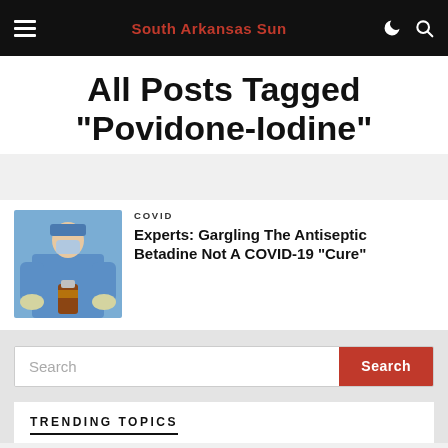South Arkansas Sun
All Posts Tagged "Povidone-Iodine"
[Figure (photo): Medical professional in blue scrubs and gloves holding a bottle, likely of antiseptic solution]
COVID
Experts: Gargling The Antiseptic Betadine Not A COVID-19 “Cure”
Search
TRENDING TOPICS